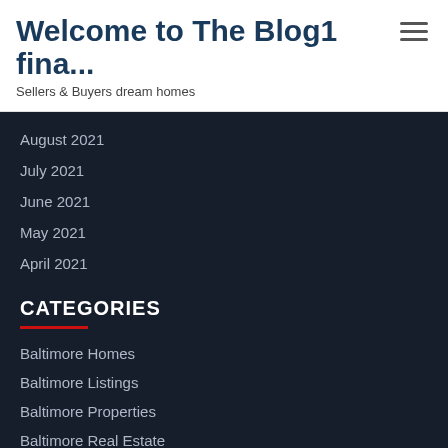Welcome to The Blog1 fina...
Sellers & Buyers dream homes
August 2021
July 2021
June 2021
May 2021
April 2021
CATEGORIES
Baltimore Homes
Baltimore Listings
Baltimore Properties
Baltimore Real Estate
Bear Homes
Bear Listings
Bear Properties
Bear Real Estate